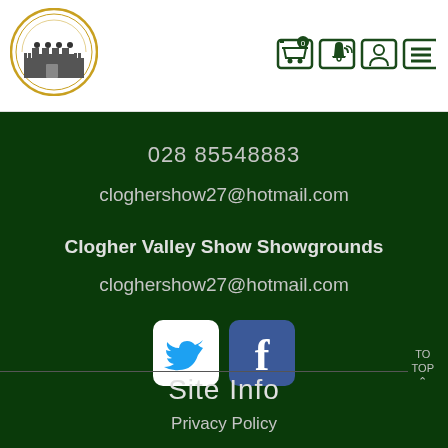[Figure (logo): Clogher Valley Agricultural Society circular logo with castle illustration]
[Figure (infographic): Navigation icons: shopping cart, notification bell, user/account, hamburger menu]
028 85548883
cloghershow27@hotmail.com
Clogher Valley Show Showgrounds
cloghershow27@hotmail.com
[Figure (logo): Twitter and Facebook social media icon buttons]
Site Info
Privacy Policy